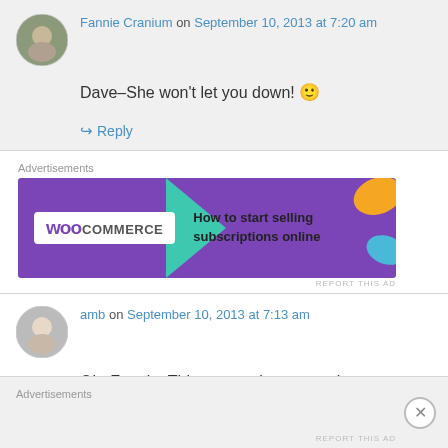Fannie Cranium on September 10, 2013 at 7:20 am
Dave–She won't let you down! 🙂
↪ Reply
Advertisements
[Figure (other): WooCommerce advertisement banner: purple background with WooCommerce logo and text 'How to start selling subscriptions online' with decorative shapes]
REPORT THIS AD
amb on September 10, 2013 at 7:13 am
Oh, Fannie. This post makes me so happy on so many levels. Can we add some of the Thin Man
Advertisements
REPORT THIS AD